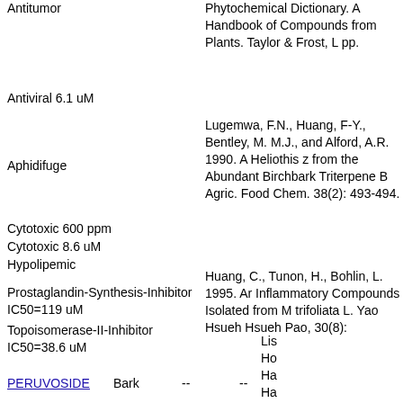Antitumor
Phytochemical Dictionary. A Handbook of Compounds from Plants. Taylor & Frost, L pp.
Antiviral 6.1 uM
Lugemwa, F.N., Huang, F-Y., Bentley, M. M.J., and Alford, A.R. 1990. A Heliothis z from the Abundant Birchbark Triterpene B Agric. Food Chem. 38(2): 493-494.
Aphidifuge
Cytotoxic 600 ppm
Cytotoxic 8.6 uM
Hypolipemic
Huang, C., Tunon, H., Bohlin, L. 1995. Ar Inflammatory Compounds Isolated from M trifoliata L. Yao Hsueh Hsueh Pao, 30(8):
Prostaglandin-Synthesis-Inhibitor IC50=119 uM
Topoisomerase-II-Inhibitor IC50=38.6 uM
Lis Ho Ha Ha Ph Pr Sp
PERUVOSIDE    Bark    --    --